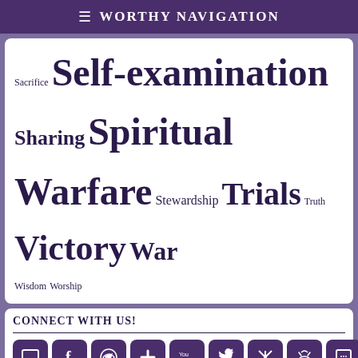≡ Worthy Navigation
Sacrifice Self-examination Sharing Spiritual Warfare Stewardship Trials Truth Victory War Wisdom Worship
Connect with Us!
[Figure (other): Grid of social media and app icon buttons: TV/screen, Facebook, Telegram, Plus/add, YouTube, Twitter, App Store, Android, Chat, Prayer, Bible, Search]
Worthy Syndication
Worthy Ministries is proud to announce that we're syndicating Worthy News and Worthy Devotions for churches and Christian ministries to freely use our content!